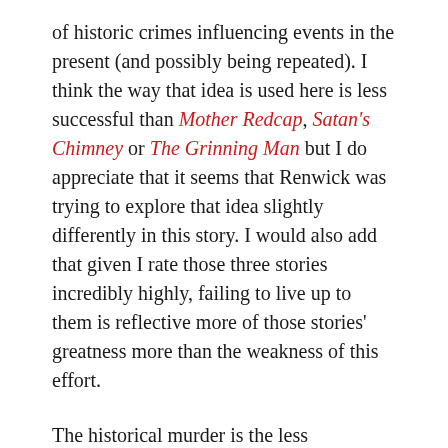of historic crimes influencing events in the present (and possibly being repeated). I think the way that idea is used here is less successful than Mother Redcap, Satan's Chimney or The Grinning Man but I do appreciate that it seems that Renwick was trying to explore that idea slightly differently in this story. I would also add that given I rate those three stories incredibly highly, failing to live up to them is reflective more of those stories' greatness more than the weakness of this effort.
The historical murder is the less interesting of the two, in part because it feels much more limited. Unlike those other episodes I referenced we are not looking at a series of events but a single, isolated occurrence. I think the bigger issue I have with it though is that the circumstances of that murder all feel rather convoluted and silly, being designed with the idea that we will try and link it to the